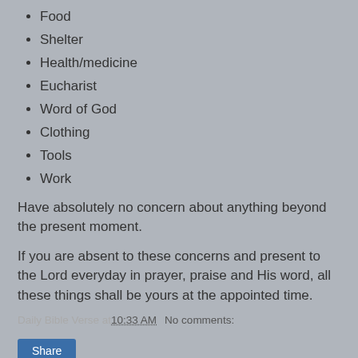Food
Shelter
Health/medicine
Eucharist
Word of God
Clothing
Tools
Work
Have absolutely no concern about anything beyond the present moment.
If you are absent to these concerns and present to the Lord everyday in prayer, praise and His word, all these things shall be yours at the appointed time.
Daily Bible Verse at 10:33 AM   No comments: